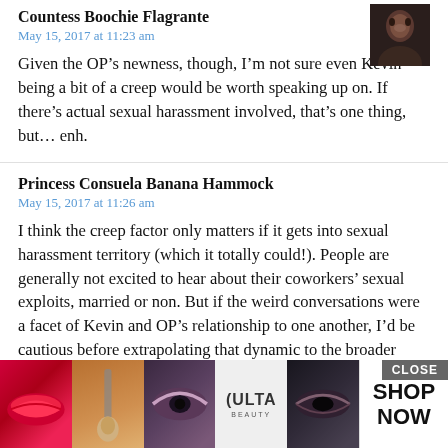Countess Boochie Flagrante
May 15, 2017 at 11:23 am
Given the OP’s newness, though, I’m not sure even Kevin being a bit of a creep would be worth speaking up on. If there’s actual sexual harassment involved, that’s one thing, but… enh.
[Figure (photo): Small avatar photo of a person with dark hair against a dark background]
Princess Consuela Banana Hammock
May 15, 2017 at 11:26 am
I think the creep factor only matters if it gets into sexual harassment territory (which it totally could!). People are generally not excited to hear about their coworkers’ sexual exploits, married or non. But if the weird conversations were a facet of Kevin and OP’s relationship to one another, I’d be cautious before extrapolating that dynamic to the broader work population.
[Figure (infographic): ULTA beauty advertisement banner with makeup images (lips, brush, eye makeup) and SHOP NOW text, with a CLOSE button]